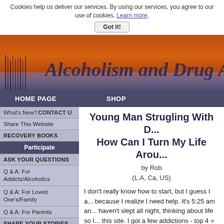Cookies help us deliver our services. By using our services, you agree to our use of cookies. Learn more. Got it!
[Figure (screenshot): Website header banner with sunset/water background and cursive text reading 'Alcoholism and Drug A...']
HOME PAGE   SHOP
What's New?  CONTACT U
Share This Website
RECOVERY BOOKS
Participate
ASK YOUR QUESTIONS
Q & A: For Addicts/Alcoholics
Q & A: For Loved One's/Family
Q & A: For Parents
SHARE YOUR STORIES
Understand
What is Alcoholism &
Young Man Strugling With D... How Can I Turn My Life Arou...
by Rob
(L.A, Ca, US)
I don't really know how to start, but I guess I a... because I realize I need help. It's 5:25 am an... haven't slept all night, thinking about life so I... this site. I got a few addictions - top 4 = weed... pills,and graffiti. I am 19 about to be 20 years... in North Hollywood in L.A.